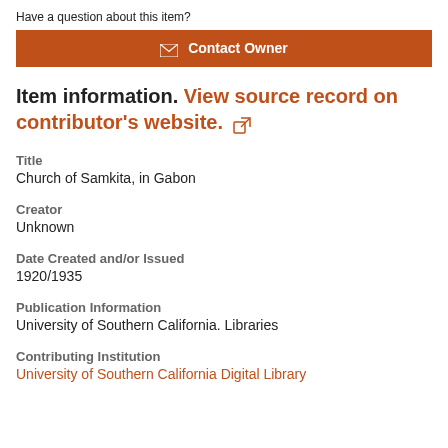Have a question about this item?
✉ Contact Owner
Item information. View source record on contributor's website. ↗
Title
Church of Samkita, in Gabon
Creator
Unknown
Date Created and/or Issued
1920/1935
Publication Information
University of Southern California. Libraries
Contributing Institution
University of Southern California Digital Library